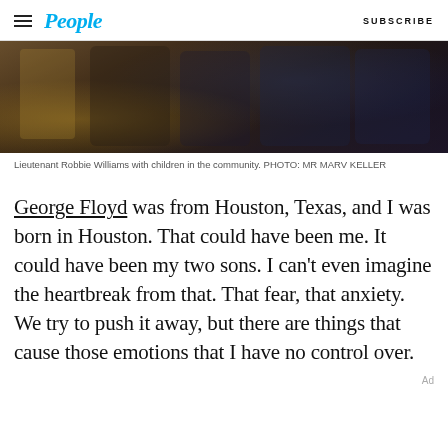People | SUBSCRIBE
[Figure (photo): Lieutenant Robbie Williams with children in the community, close-up photo of people in dark clothing.]
Lieutenant Robbie Williams with children in the community. PHOTO: MR MARV KELLER
George Floyd was from Houston, Texas, and I was born in Houston. That could have been me. It could have been my two sons. I can't even imagine the heartbreak from that. That fear, that anxiety. We try to push it away, but there are things that cause those emotions that I have no control over.
Ad